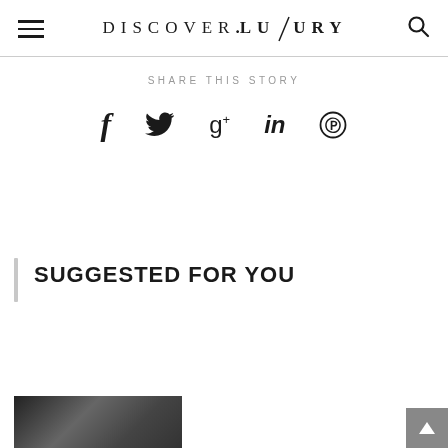DISCOVER.LUXURY
SHARE THIS STORY
[Figure (other): Social media share icons: Facebook (f), Twitter (bird), Google+ (g+), LinkedIn (in), Pinterest (P circle)]
SUGGESTED FOR YOU
[Figure (photo): Black and white thumbnail photo at bottom left]